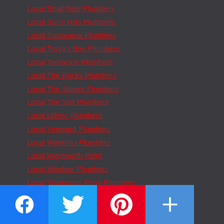Local Strathfield Plumbers
Local Surry Hills Plumbers
Local Tamarama Plumbers
Local Taylors Bay Plumbers
Local Tennyson Plumbers
Local The Rocks Plumbers
Local The Slopes Plumbers
Local The Spit Plumbers
Local Ultimo Plumbers
Local Vineyard Plumbers
Local Waterloo Plumbers
Local Wentworth Point
Local Windsor Plumbers
Local Wisemans Ferry Plumbers
Local Woodcroft Plumbers
Local Woolloomooloo Plumbers
Local Woolwich Plumbers
Local Zetland Plumbers